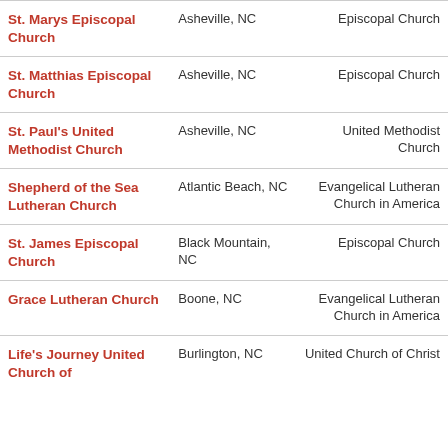| Name | Location | Denomination |
| --- | --- | --- |
| St. Marys Episcopal Church | Asheville, NC | Episcopal Church |
| St. Matthias Episcopal Church | Asheville, NC | Episcopal Church |
| St. Paul's United Methodist Church | Asheville, NC | United Methodist Church |
| Shepherd of the Sea Lutheran Church | Atlantic Beach, NC | Evangelical Lutheran Church in America |
| St. James Episcopal Church | Black Mountain, NC | Episcopal Church |
| Grace Lutheran Church | Boone, NC | Evangelical Lutheran Church in America |
| Life's Journey United Church of | Burlington, NC | United Church of Christ |